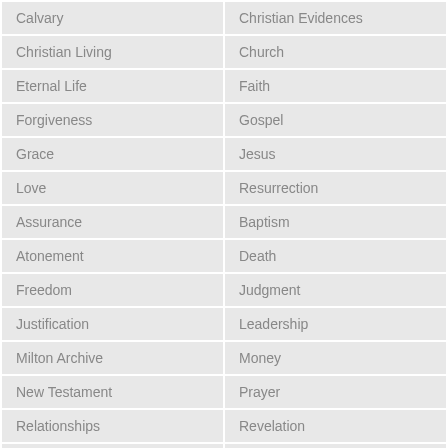| Calvary | Christian Evidences |
| Christian Living | Church |
| Eternal Life | Faith |
| Forgiveness | Gospel |
| Grace | Jesus |
| Love | Resurrection |
| Assurance | Baptism |
| Atonement | Death |
| Freedom | Judgment |
| Justification | Leadership |
| Milton Archive | Money |
| New Testament | Prayer |
| Relationships | Revelation |
| Righteousness | Salvation |